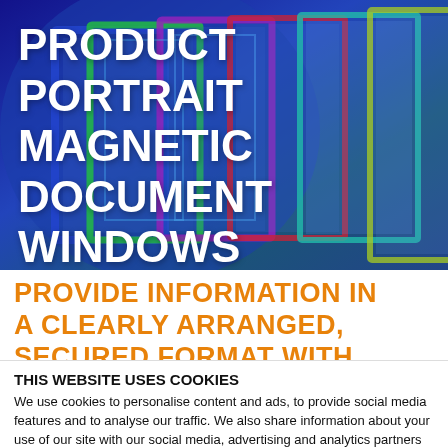[Figure (photo): Product hero image showing colorful transparent acrylic/magnetic document window frames arranged in a fan-like pattern against a blue background, with green, purple, red, and yellow accent colors on the frame borders.]
PRODUCT PORTRAIT MAGNETIC DOCUMENT WINDOWS
PROVIDE INFORMATION IN A CLEARLY ARRANGED, SECURED FORMAT WITH
THIS WEBSITE USES COOKIES
We use cookies to personalise content and ads, to provide social media features and to analyse our traffic. We also share information about your use of our site with our social media, advertising and analytics partners who may combine it with other information that you've provided to them or that they've collected from your use of their services. Click here for more information: